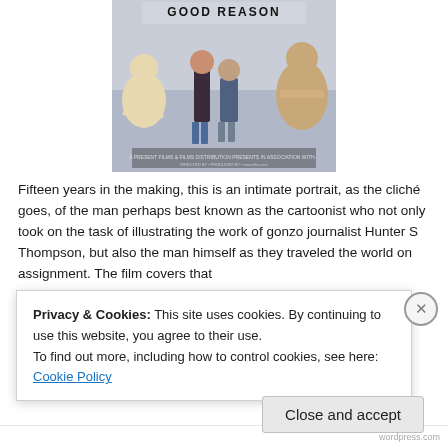[Figure (photo): Movie poster for 'Good Reason' showing two real men walking together and illustrated cartoon/zombie characters on either side, with film credits text at the bottom of the poster]
Fifteen years in the making, this is an intimate portrait, as the cliché goes, of the man perhaps best known as the cartoonist who not only took on the task of illustrating the work of gonzo journalist Hunter S Thompson, but also the man himself as they traveled the world on assignment. The film covers that
Privacy & Cookies: This site uses cookies. By continuing to use this website, you agree to their use.
To find out more, including how to control cookies, see here: Cookie Policy
Close and accept
wordpress.com